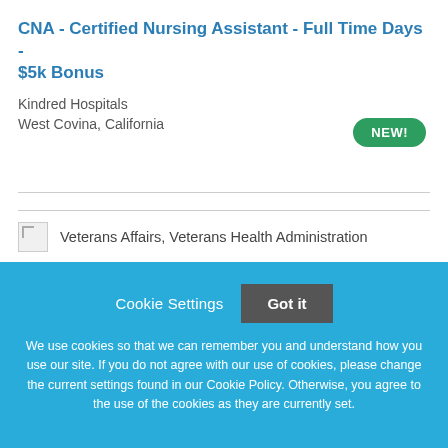CNA - Certified Nursing Assistant - Full Time Days - $5k Bonus
Kindred Hospitals
West Covina, California
[Figure (other): Green rounded pill badge with text 'NEW!']
[Figure (logo): Broken image placeholder icon for Veterans Affairs, Veterans Health Administration logo]
Veterans Affairs, Veterans Health Administration
Cookie Settings
Got it
We use cookies so that we can remember you and understand how you use our site. If you do not agree with our use of cookies, please change the current settings found in our Cookie Policy. Otherwise, you agree to the use of the cookies as they are currently set.